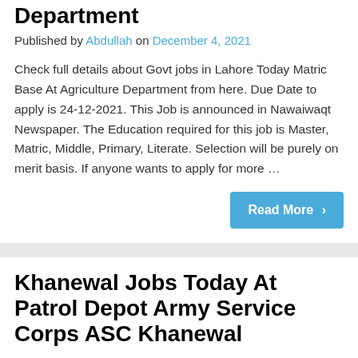Department
Published by Abdullah on December 4, 2021
Check full details about Govt jobs in Lahore Today Matric Base At Agriculture Department from here. Due Date to apply is 24-12-2021. This Job is announced in Nawaiwaqt Newspaper. The Education required for this job is Master, Matric, Middle, Primary, Literate. Selection will be purely on merit basis. If anyone wants to apply for more …
Read More >
Khanewal Jobs Today At Patrol Depot Army Service Corps ASC Khanewal